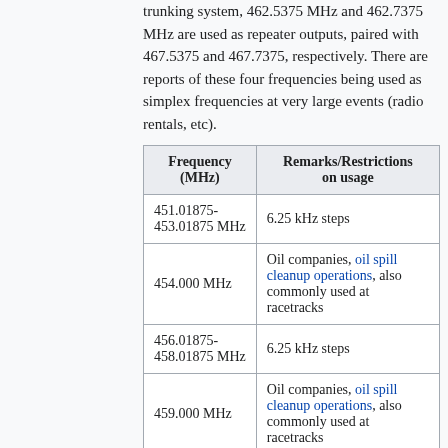trunking system, 462.5375 MHz and 462.7375 MHz are used as repeater outputs, paired with 467.5375 and 467.7375, respectively. There are reports of these four frequencies being used as simplex frequencies at very large events (radio rentals, etc).
| Frequency (MHz) | Remarks/Restrictions on usage |
| --- | --- |
| 451.01875-453.01875 MHz | 6.25 kHz steps |
| 454.000 MHz | Oil companies, oil spill cleanup operations, also commonly used at racetracks |
| 456.01875-458.01875 MHz | 6.25 kHz steps |
| 459.000 MHz | Oil companies, oil spill cleanup operations, also commonly used at racetracks |
| 462.750- | 12.5 kHz steps, shared |